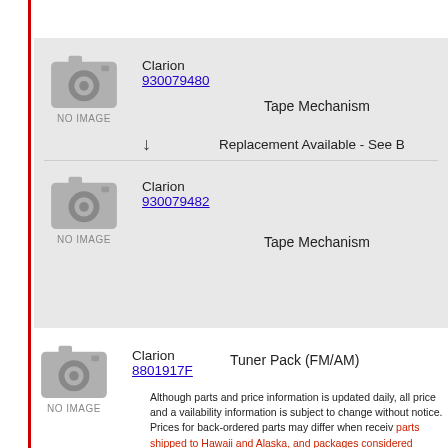Clarion 930079480 — Tape Mechanism
↓  Replacement Available - See B
Clarion 930079482 — Tape Mechanism
Clarion 8801917F — Tuner Pack (FM/AM)
Although parts and price information is updated daily, all price and availability information is subject to change without notice. Prices for back-ordered parts may differ when received. Additional charges may apply for parts shipped to Hawaii and Alaska, and packages considered "oversized" by carriers will incur additional freight costs. Every attempt to notify you of changes will be made prior to shipment. Returns are subject to a 20% restocking fee.